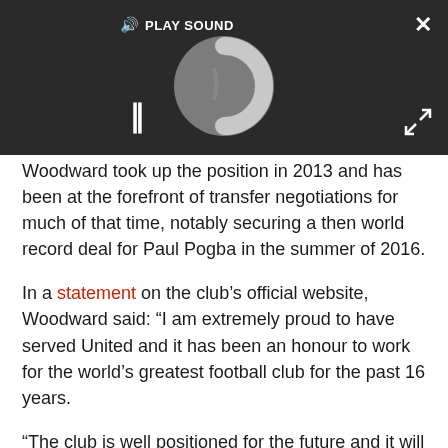[Figure (screenshot): Media player UI with dark background showing a loading/spinning circle, pause button (double bar), PLAY SOUND label with speaker icon, close (X) button top right, and expand arrows bottom right.]
Woodward took up the position in 2013 and has been at the forefront of transfer negotiations for much of that time, notably securing a then world record deal for Paul Pogba in the summer of 2016.
In a statement on the club’s official website, Woodward said: “I am extremely proud to have served United and it has been an honour to work for the world’s greatest football club for the past 16 years.
“The club is well positioned for the future and it will be